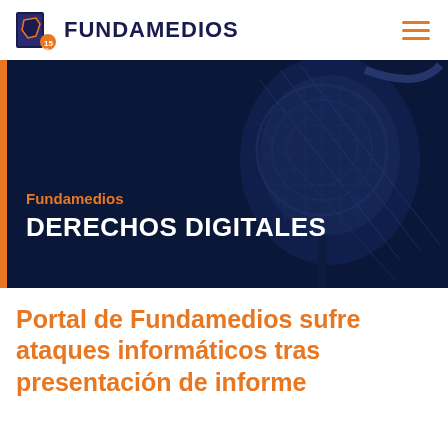FUNDAMEDIOS
[Figure (screenshot): Dark navy blue hero banner with microphone in background, orange left border bar, orange label 'Fundamedios' and white bold uppercase text 'DERECHOS DIGITALES']
Portal de Fundamedios sufre ataques informáticos tras presentación de informe sobre libertad de...